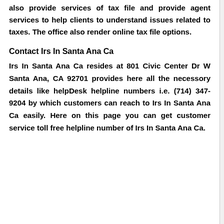also provide services of tax file and provide agent services to help clients to understand issues related to taxes. The office also render online tax file options.
Contact Irs In Santa Ana Ca
Irs In Santa Ana Ca resides at 801 Civic Center Dr W Santa Ana, CA 92701 provides here all the necessory details like helpDesk helpline numbers i.e. (714) 347-9204 by which customers can reach to Irs In Santa Ana Ca easily. Here on this page you can get customer service toll free helpline number of Irs In Santa Ana Ca.